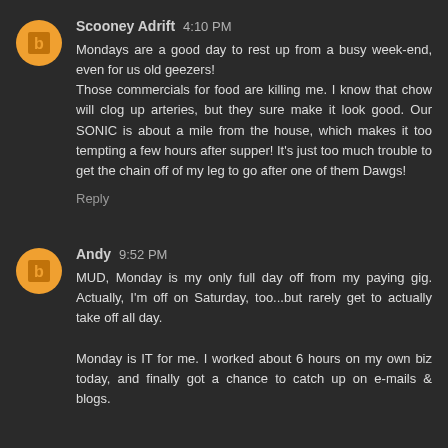Scooney Adrift 4:10 PM
Mondays are a good day to rest up from a busy week-end, even for us old geezers! Those commercials for food are killing me. I know that chow will clog up arteries, but they sure make it look good. Our SONIC is about a mile from the house, which makes it too tempting a few hours after supper! It's just too much trouble to get the chain off of my leg to go after one of them Dawgs!
Reply
Andy 9:52 PM
MUD, Monday is my only full day off from my paying gig. Actually, I'm off on Saturday, too...but rarely get to actually take off all day.

Monday is IT for me. I worked about 6 hours on my own biz today, and finally got a chance to catch up on e-mails & blogs.